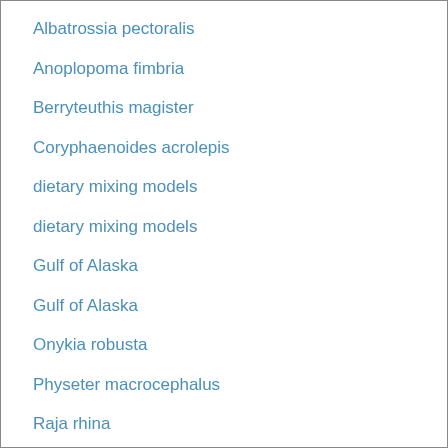Albatrossia pectoralis
Anoplopoma fimbria
Berryteuthis magister
Coryphaenoides acrolepis
dietary mixing models
dietary mixing models
Gulf of Alaska
Gulf of Alaska
Onykia robusta
Physeter macrocephalus
Raja rhina